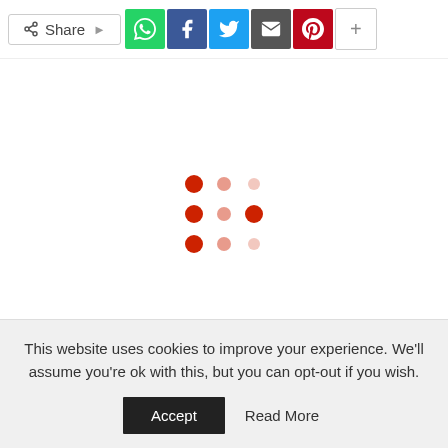[Figure (screenshot): Social share bar with Share button and icons for WhatsApp, Facebook, Twitter, Email, Pinterest, and a plus button]
[Figure (infographic): Loading spinner: 3x3 grid of red dots with varying opacity, indicating content loading]
Stay With Us
This website uses cookies to improve your experience. We'll assume you're ok with this, but you can opt-out if you wish.
Accept   Read More